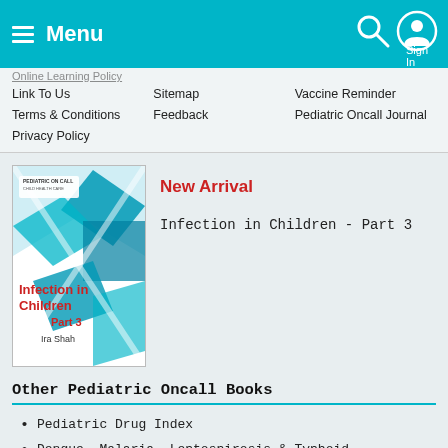Menu
Link To Us
Sitemap
Vaccine Reminder
Terms & Conditions
Feedback
Pediatric Oncall Journal
Privacy Policy
[Figure (illustration): Book cover for 'Infection in Children Part 3' by Ira Shah, published by Pediatric Oncall, showing medical imagery in diamond shapes]
New Arrival
Infection in Children - Part 3
Other Pediatric Oncall Books
Pediatric Drug Index
Dengue, Malaria, Leptospirosis & Typhoid
Infection in Children - Part 2